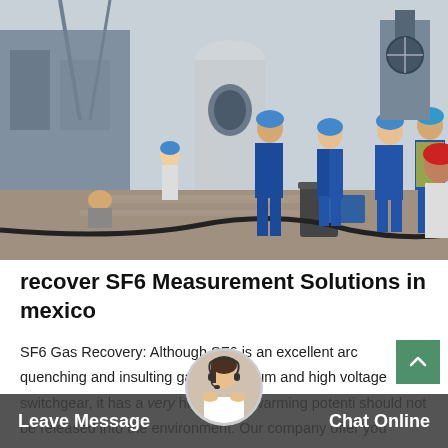[Figure (photo): Industrial site photo showing multiple workers wearing blue hard hats and blue uniforms working around large electrical or industrial equipment. One worker wears a red hard hat and yellow safety vest. Heavy machinery, cables, and structural components are visible in the background.]
recover SF6 Measurement Solutions in mexico
SF6 Gas Recovery: Although SF6 is an excellent arc quenching and insulting gas for medium and high voltage switchgear, it has a very high global warming potential should not be released into the environment. Our company offer you professional service ear...